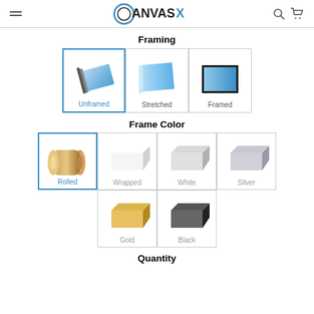CanvasX
Framing
[Figure (illustration): Three framing options: Unframed (selected, blue border), Stretched, Framed]
Frame Color
[Figure (illustration): Six frame color options: Rolled (selected, blue border), Wrapped, White, Silver, Gold, Black]
Quantity